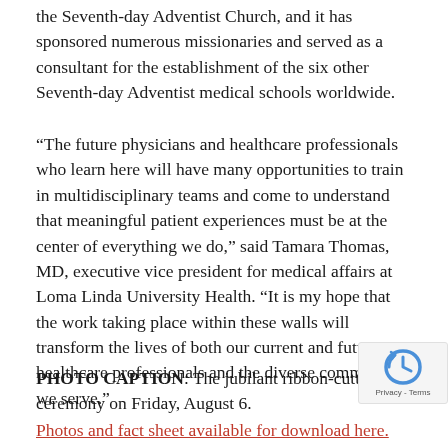the Seventh-day Adventist Church, and it has sponsored numerous missionaries and served as a consultant for the establishment of the six other Seventh-day Adventist medical schools worldwide.
“The future physicians and healthcare professionals who learn here will have many opportunities to train in multidisciplinary teams and come to understand that meaningful patient experiences must be at the center of everything we do,” said Tamara Thomas, MD, executive vice president for medical affairs at Loma Linda University Health. “It is my hope that the work taking place within these walls will transform the lives of both our current and future healthcare professionals and the diverse community we serve.”
PHOTO CAPTION: The jubilant ribbon-cutting ceremony on Friday, August 6.
Photos and fact sheet available for download here.